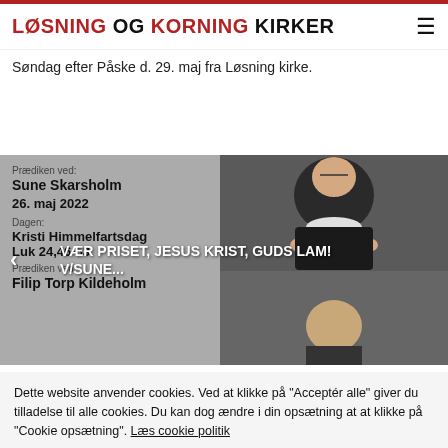LØSNING OG KORNING KIRKER
Søndag efter Påske d. 29. maj fra Løsning kirke.
[Figure (screenshot): Carousel showing church sermon listings with priest photo overlay. Left panel shows: Prædiken ved: Sune Skarsholm, 26. maj 2022, Dagen: Kristi Himmelfartsdag, Luk 24,46-53, Prædiken ved: Filip Torp Kildeholm. Overlay text reads: VÆR PRISET, JESUS KRIST, GUDS LAM! V/SUNE... with left arrow navigation. Right side shows photo of a priest in vestments.]
Dette website anvender cookies. Ved at klikke på "Acceptér alle" giver du tilladelse til alle cookies. Du kan dog ændre i din opsætning at at klikke på "Cookie opsætning". Læs cookie politik
Acceptér alle
Cookie opsætning